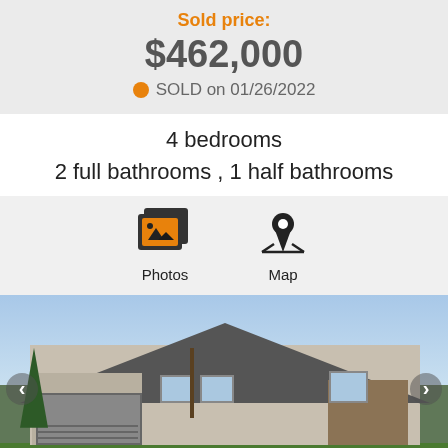Sold price:
$462,000
SOLD on 01/26/2022
4 bedrooms
2 full bathrooms , 1 half bathrooms
[Figure (other): Photos and Map navigation icons with labels]
[Figure (photo): Exterior photo of a two-story residential house with stone facade, attached garage, bare trees, and green lawn]